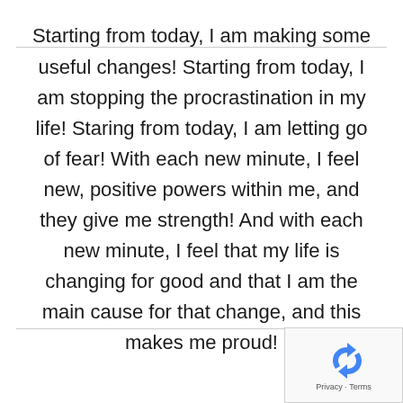Starting from today, I am making some useful changes! Starting from today, I am stopping the procrastination in my life! Staring from today, I am letting go of fear! With each new minute, I feel new, positive powers within me, and they give me strength! And with each new minute, I feel that my life is changing for good and that I am the main cause for that change, and this makes me proud!
[Figure (logo): reCAPTCHA logo with Privacy and Terms links]